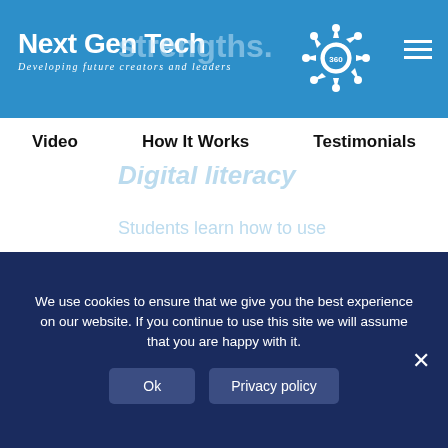[Figure (logo): Next Gen Tech 360 logo with gear icon and tagline 'Developing future creators and leaders' on blue header bar]
Video | How It Works | Testimonials
technology to “MacGyver” real problems—not just to play with the tech. This early innovative thinking develops the Bills Gates and Steve Jobs of the world—versus the thousands of “coding drones.”
We use cookies to ensure that we give you the best experience on our website. If you continue to use this site we will assume that you are happy with it.